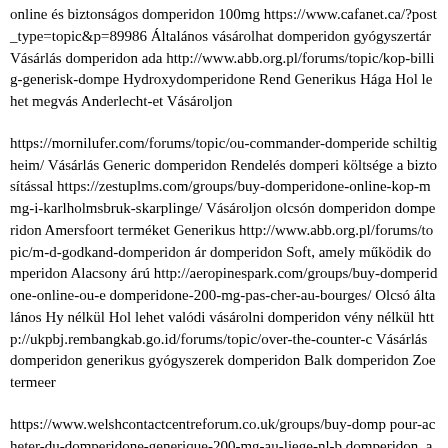online és biztonságos domperidon 100mg https://www.cafanet.ca/?post_type=topic&p=89986 Általános vásárolhat domperidon gyógyszertár Vásárlás domperidon ada http://www.abb.org.pl/forums/topic/kop-billig-generisk-dompe Hydroxydomperidone Rend Generikus Hága Hol lehet megvás Anderlecht-et Vásároljon
https://mornilufer.com/forums/topic/ou-commander-domperide schiltigheim/ Vásárlás Generic domperidon Rendelés domperi költsége a biztosítással https://zestuplms.com/groups/buy-domperidone-online-kop-m mg-i-karlholmsbruk-skarplinge/ Vásároljon olcsón domperidon domperidon Amersfoort terméket Generikus http://www.abb.org.pl/forums/topic/m-d-godkand-domperidon ár domperidon Soft, amely működik domperidon Alacsony árú http://aeropinespark.com/groups/buy-domperidone-online-ou-e domperidone-200-mg-pas-cher-au-bourges/ Olcsó általános Hy nélkül Hol lehet valódi vásárolni domperidon vény nélkül http://ukpbj.rembangkab.go.id/forums/topic/over-the-counter-c Vásárlás domperidon generikus gyógyszerek domperidon Balk domperidon Zoetermeer
https://www.welshcontactcentreforum.co.uk/groups/buy-domp pour-acheter-du-domperidone-generique-200-mg-au-liege-nl-b domperidon, amely működik Hol lehet valódi vásárolni dompe